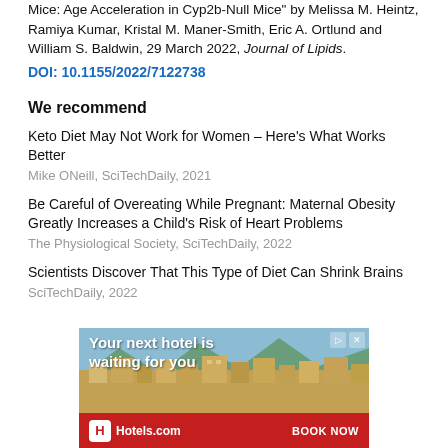Mice: Age Acceleration in Cyp2b-Null Mice" by Melissa M. Heintz, Ramiya Kumar, Kristal M. Maner-Smith, Eric A. Ortlund and William S. Baldwin, 29 March 2022, Journal of Lipids.
DOI: 10.1155/2022/7122738
We recommend
Keto Diet May Not Work for Women – Here's What Works Better
Mike ONeill, SciTechDaily, 2021
Be Careful of Overeating While Pregnant: Maternal Obesity Greatly Increases a Child's Risk of Heart Problems
The Physiological Society, SciTechDaily, 2022
Scientists Discover That This Type of Diet Can Shrink Brains
SciTechDaily, 2022
[Figure (infographic): Hotels.com advertisement banner: 'Your next hotel is waiting for you' over a photo of a hillside resort town, with Hotels.com logo and BOOK NOW button on red bar at bottom.]